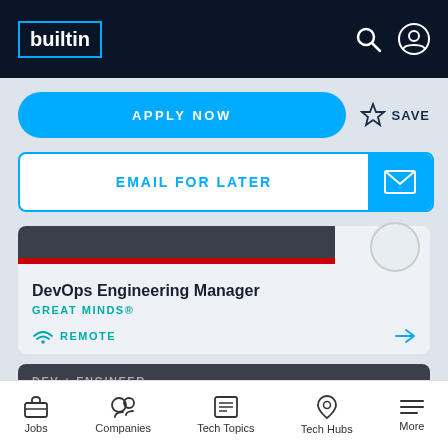builtin
APPLY NOW
SAVE
EMAIL FOR LATER
DevOps Engineering Manager
GREAT MINDS®
REMOTE
DEV + ENGINEER
Jobs | Companies | Tech Topics | Tech Hubs | More